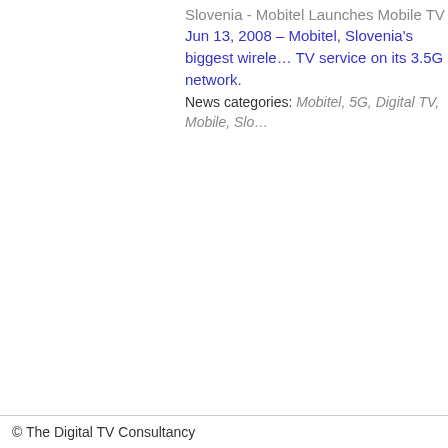Slovenia - Mobitel Launches Mobile TV
Jun 13, 2008 – Mobitel, Slovenia's biggest wirele… TV service on its 3.5G network.
News categories: Mobitel, 5G, Digital TV, Mobile, Slo…
© The Digital TV Consultancy